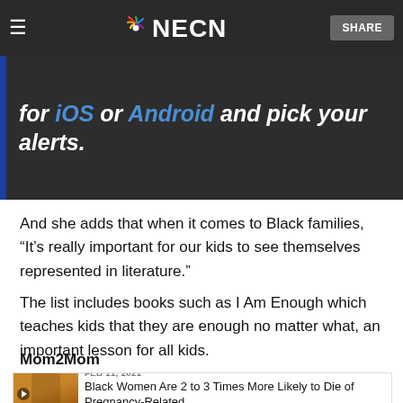NECN — Share
for iOS or Android and pick your alerts.
And she adds that when it comes to Black families, “It’s really important for our kids to see themselves represented in literature.”
The list includes books such as I Am Enough which teaches kids that they are enough no matter what, an important lesson for all kids.
Mom2Mom
[Figure (photo): Thumbnail image of a pregnant Black woman in a yellow top, used as a card image for a related article.]
FEB 11, 2021 — Black Women Are 2 to 3 Times More Likely to Die of Pregnancy-Related...